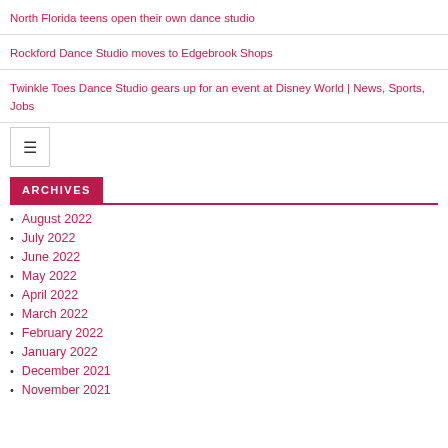North Florida teens open their own dance studio
Rockford Dance Studio moves to Edgebrook Shops
Twinkle Toes Dance Studio gears up for an event at Disney World | News, Sports, Jobs
ARCHIVES
August 2022
July 2022
June 2022
May 2022
April 2022
March 2022
February 2022
January 2022
December 2021
November 2021